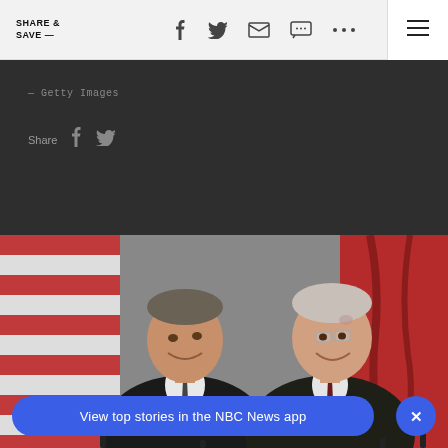SHARE & SAVE —
— Getty Images
Share
[Figure (photo): Two men in dark suits smiling at each other at a formal event with American and red flags in the background — appears to be George H.W. Bush and Mikhail Gorbachev]
View top stories in the NBC News app